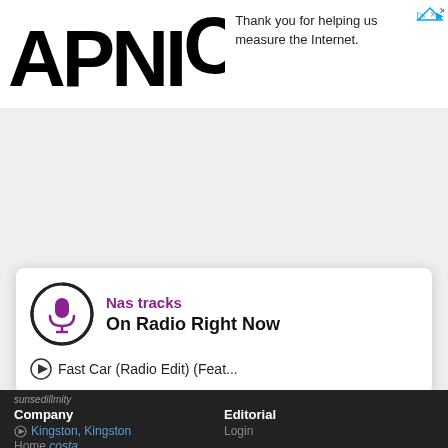[Figure (logo): APNIC logo in large bold black text]
Thank you for helping us measure the Internet.
[Figure (other): Navigation chevron up arrow button]
[Figure (other): Microphone icon with circular power ring, radio player widget]
Nas tracks
On Radio Right Now
Fast Car (Radio Edit) (Feat...
sunsedillmity
Kingston, Kingston
Company
Home
costa
Editorial
Login